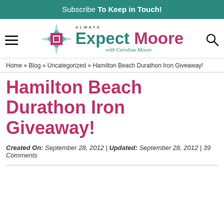Subscribe To Keep in Touch!
[Figure (logo): Always Expect Moore with Carolina Moore blog logo with quilt-star icon]
Home » Blog » Uncategorized » Hamilton Beach Durathon Iron Giveaway!
Hamilton Beach Durathon Iron Giveaway!
Created On: September 28, 2012 | Updated: September 28, 2012 | 39 Comments